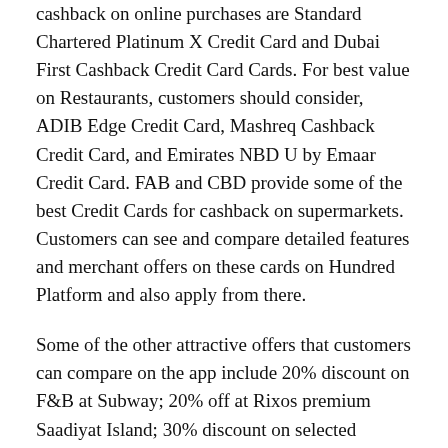cashback on online purchases are Standard Chartered Platinum X Credit Card and Dubai First Cashback Credit Card Cards. For best value on Restaurants, customers should consider, ADIB Edge Credit Card, Mashreq Cashback Credit Card, and Emirates NBD U by Emaar Credit Card. FAB and CBD provide some of the best Credit Cards for cashback on supermarkets. Customers can see and compare detailed features and merchant offers on these cards on Hundred Platform and also apply from there.
Some of the other attractive offers that customers can compare on the app include 20% discount on F&B at Subway; 20% off at Rixos premium Saadiyat Island; 30% discount on selected services at Hollywood Smile Medical Center; 50% discount on F&B at Chapters, The Retreat Palm Dubai MGallery by Sofitel; and Up to 50% discount on selected services at VLCC and much more.